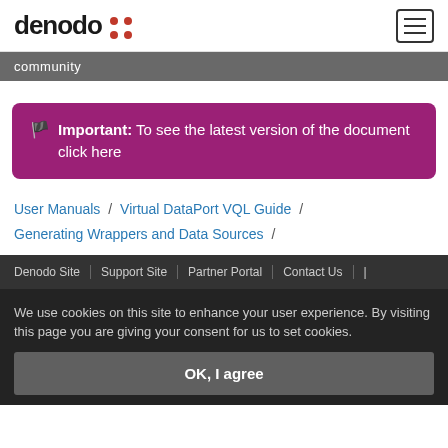denodo community
🏴 Important: To see the latest version of the document click here
User Manuals / Virtual DataPort VQL Guide / Generating Wrappers and Data Sources /
Denodo Site | Support Site | Partner Portal | Contact Us |
We use cookies on this site to enhance your user experience. By visiting this page you are giving your consent for us to set cookies.
OK, I agree